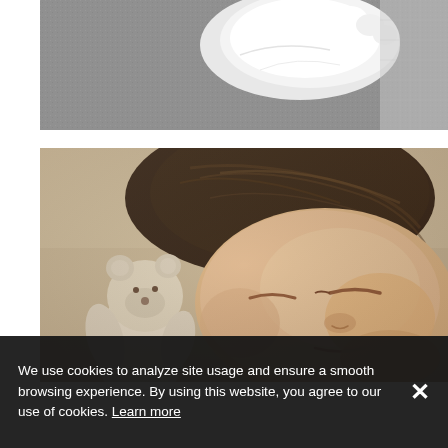[Figure (photo): Black and white close-up photo of what appears to be a newborn's feet or hands wrapped in white fabric/cloth on a textured background.]
[Figure (photo): Color close-up photo of a sleeping newborn baby with dark hair, eyes closed, with a small white teddy bear/stuffed animal visible at lower left, against a warm beige/tan background.]
We use cookies to analyze site usage and ensure a smooth browsing experience. By using this website, you agree to our use of cookies. Learn more